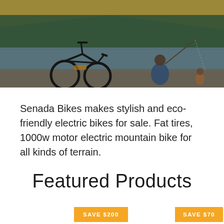[Figure (photo): Outdoor scene with an electric fat-tire bike parked near a lakeside, with a person sitting fishing near the water, trees and a yellow tent canopy visible in the background.]
Senada Bikes makes stylish and eco-friendly electric bikes for sale. Fat tires, 1000w motor electric mountain bike for all kinds of terrain.
Featured Products
SAVE $200
SAVE $70